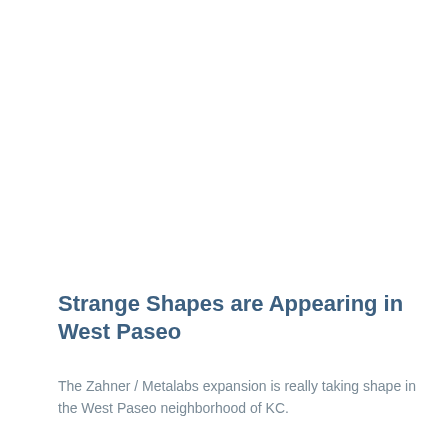Strange Shapes are Appearing in West Paseo
The Zahner / Metalabs expansion is really taking shape in the West Paseo neighborhood of KC.